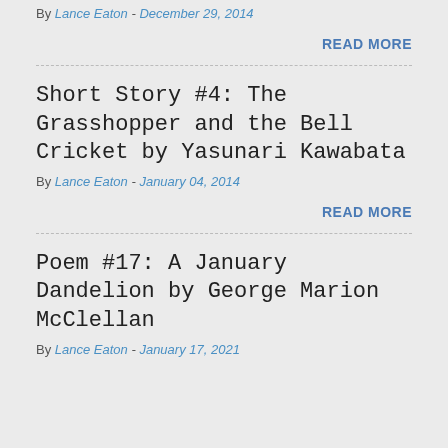By Lance Eaton - December 29, 2014
READ MORE
Short Story #4: The Grasshopper and the Bell Cricket by Yasunari Kawabata
By Lance Eaton - January 04, 2014
READ MORE
Poem #17: A January Dandelion by George Marion McClellan
By Lance Eaton - January 17, 2021